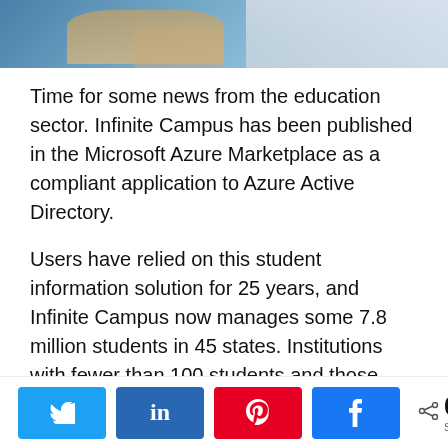[Figure (photo): Partial photo of students or children at desks, cropped at top showing a blue/denim-clad figure and hands on a surface]
Time for some news from the education sector. Infinite Campus has been published in the Microsoft Azure Marketplace as a compliant application to Azure Active Directory.
Users have relied on this student information solution for 25 years, and Infinite Campus now manages some 7.8 million students in 45 states. Institutions with fewer than 100 students and those with more than 600,000 have made use of the platform.
Social share buttons: Twitter, LinkedIn, Pinterest, Facebook. 0 SHARES